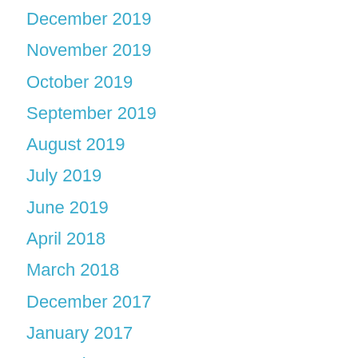December 2019
November 2019
October 2019
September 2019
August 2019
July 2019
June 2019
April 2018
March 2018
December 2017
January 2017
December 2016
November 2016